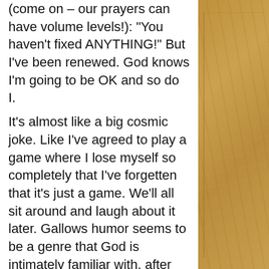(come on – our prayers can have volume levels!): "You haven't fixed ANYTHING!"  But I've been renewed.  God knows I'm going to be OK and so do I.
It's almost like a big cosmic joke.  Like I've agreed to play a game where I lose myself so completely that I've forgetten that it's just a game.  We'll all sit around and laugh about it later.  Gallows humor seems to be a genre that God is intimately familiar with, after all.
Every time God does this and I protest that he hasn't fixed anything I get pretty much the same reaction – a little bit of God's laughter and a little spark of joy.  (See?  I told you – irritating!)  It's not quite like being able to see through that veil between the physical and the